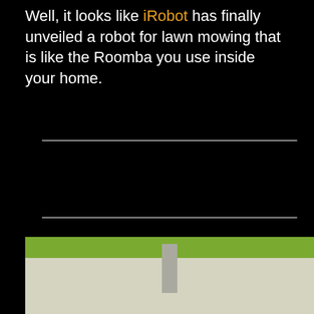Well, it looks like iRobot has finally unveiled a robot for lawn mowing that is like the Roomba you use inside your home.
[Figure (photo): Partial photo showing green grass at the top and a concrete or light-colored surface below, with what appears to be a fence post or stake in the center.]